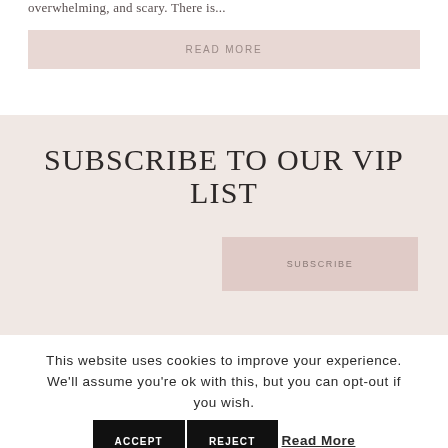overwhelming, and scary. There is...
READ MORE
SUBSCRIBE TO OUR VIP LIST
SUBSCRIBE
This website uses cookies to improve your experience. We'll assume you're ok with this, but you can opt-out if you wish.
ACCEPT  REJECT  Read More